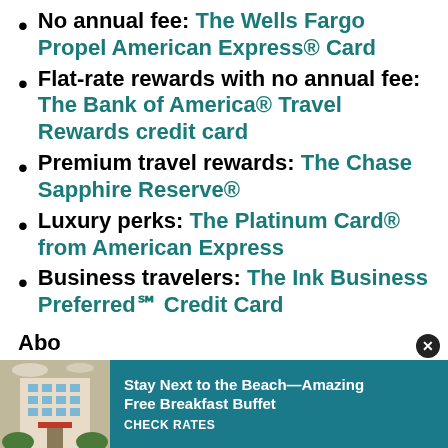No annual fee: The Wells Fargo Propel American Express® Card
Flat-rate rewards with no annual fee: The Bank of America® Travel Rewards credit card
Premium travel rewards: The Chase Sapphire Reserve®
Luxury perks: The Platinum Card® from American Express
Business travelers: The Ink Business Preferred℠ Credit Card
Abo
[Figure (infographic): Advertisement banner: Stay Next to the Beach—Amazing Free Breakfast Buffet CHECK RATES with hotel building photo on left and teal background]